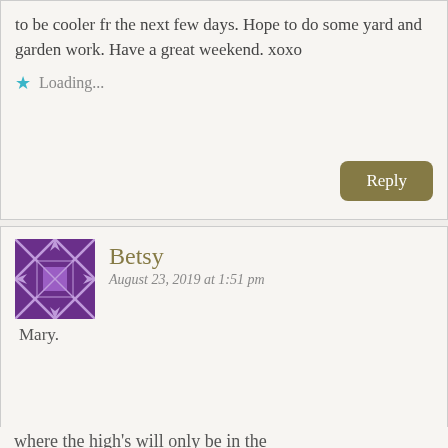to be cooler fr the next few days. Hope to do some yard and garden work. Have a great weekend. xoxo
Loading...
Reply
Betsy
August 23, 2019 at 1:51 pm
Mary.
Privacy & Cookies: This site uses cookies. By continuing to use this website, you agree to their use.
To find out more, including how to control cookies, see here:
Cookie Policy
Close and accept
where the high's will only be in the